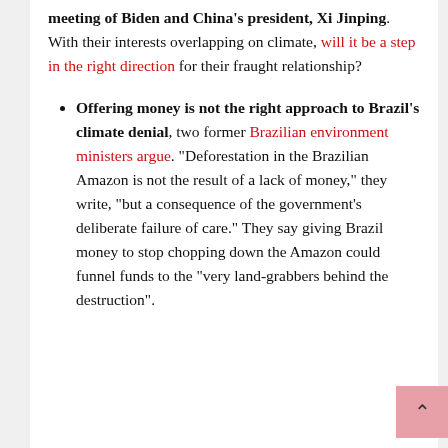meeting of Biden and China's president, Xi Jinping. With their interests overlapping on climate, will it be a step in the right direction for their fraught relationship?
Offering money is not the right approach to Brazil's climate denial, two former Brazilian environment ministers argue. "Deforestation in the Brazilian Amazon is not the result of a lack of money," they write, "but a consequence of the government's deliberate failure of care." They say giving Brazil money to stop chopping down the Amazon could funnel funds to the "very land-grabbers behind the destruction".